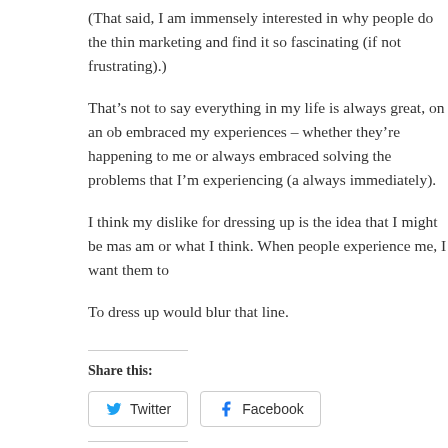(That said, I am immensely interested in why people do the thin marketing and find it so fascinating (if not frustrating).)
That’s not to say everything in my life is always great, on an ob embraced my experiences – whether they’re happening to me or always embraced solving the problems that I’m experiencing (a always immediately).
I think my dislike for dressing up is the idea that I might be mas am or what I think. When people experience me, I want them to
To dress up would blur that line.
Share this:
Twitter   Facebook